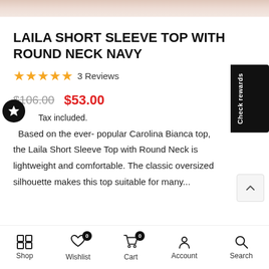[Figure (photo): Product photo of Laila Short Sleeve Top cropped at top]
LAILA SHORT SLEEVE TOP WITH ROUND NECK NAVY
★★★★★ 3 Reviews
$106.00  $53.00
Tax included.
Based on the ever- popular Carolina Bianca top, the Laila Short Sleeve Top with Round Neck is lightweight and comfortable. The classic oversized silhouette makes this top suitable for many...
Shop  Wishlist 0  Cart 0  Account  Search